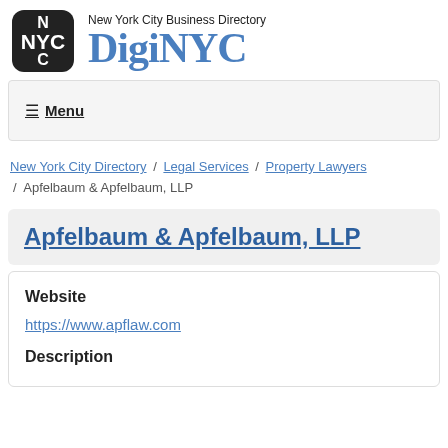New York City Business Directory DigiNYC
☰ Menu
New York City Directory / Legal Services / Property Lawyers / Apfelbaum & Apfelbaum, LLP
Apfelbaum & Apfelbaum, LLP
Website
https://www.apflaw.com
Description